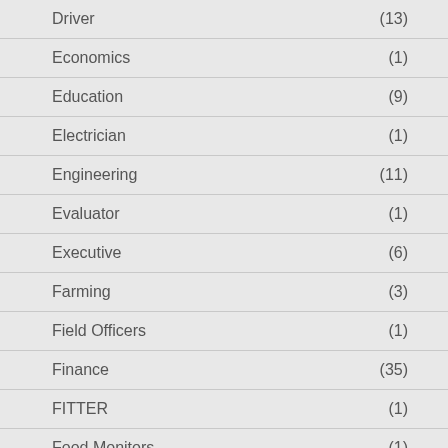Driver (13)
Economics (1)
Education (9)
Electrician (1)
Engineering (11)
Evaluator (1)
Executive (6)
Farming (3)
Field Officers (1)
Finance (35)
FITTER (1)
Food Monitors (1)
Foreman (1)